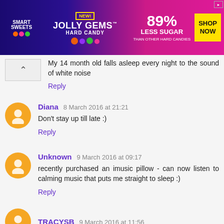[Figure (other): Advertisement banner for SmartSweets Jolly Gems Hard Candy - '89% Less Sugar than other hard candies' with Shop Now button]
My 14 month old falls asleep every night to the sound of white noise
Reply
Diana 8 March 2016 at 21:21
Don't stay up till late :)
Reply
Unknown 9 March 2016 at 09:17
recently purchased an imusic pillow - can now listen to calming music that puts me straight to sleep :)
Reply
TRACYSB 9 March 2016 at 11:56